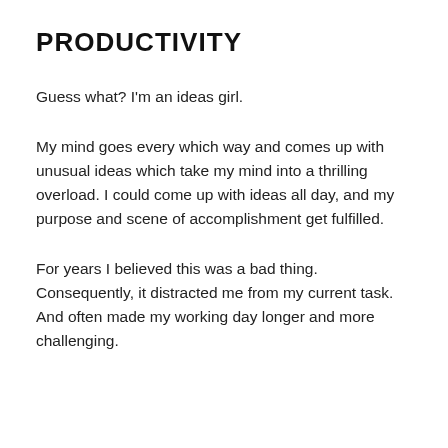PRODUCTIVITY
Guess what? I'm an ideas girl.
My mind goes every which way and comes up with unusual ideas which take my mind into a thrilling overload. I could come up with ideas all day, and my purpose and scene of accomplishment get fulfilled.
For years I believed this was a bad thing. Consequently, it distracted me from my current task. And often made my working day longer and more challenging.